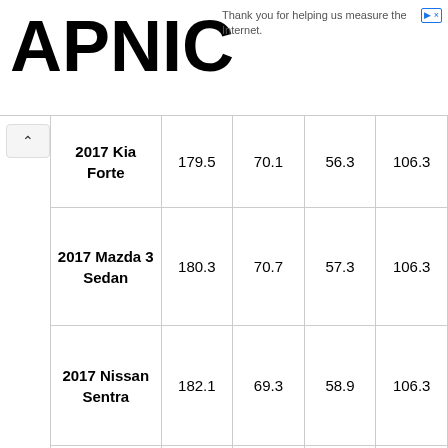APNIC — Thank you for helping us measure the Internet.
| Car | Col1 | Col2 | Col3 | Col4 |
| --- | --- | --- | --- | --- |
| 2017 Kia Forte | 179.5 | 70.1 | 56.3 | 106.3 |
| 2017 Mazda 3 Sedan | 180.3 | 70.7 | 57.3 | 106.3 |
| 2017 Nissan Sentra | 182.1 | 69.3 | 58.9 | 106.3 |
| 2018 Nissan Leaf (click for detailed comparison with Model | 176.4 | 70.5 | 61.6 | 106.3 |